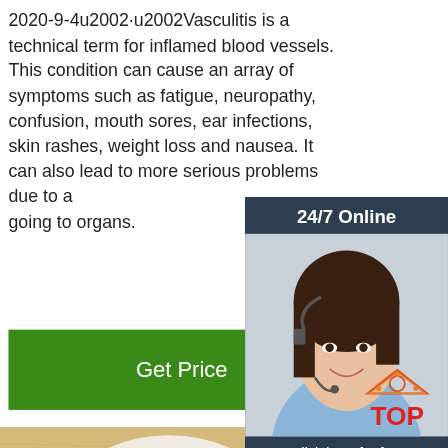2020-9-4u2002·u2002Vasculitis is a technical term for inflamed blood vessels. This condition can cause an array of symptoms such as fatigue, neuropathy, confusion, mouth sores, ear infections, skin rashes, weight loss and nausea. It can also lead to more serious problems due to a going to organs.
Get Price
[Figure (photo): 24/7 Online chat widget with woman wearing headset and orange QUOTATION button]
[Figure (photo): Face sheet mask laid flat on wooden surface, white fabric mask with eye holes visible]
[Figure (logo): TOP logo with orange house/triangle icon and red text]